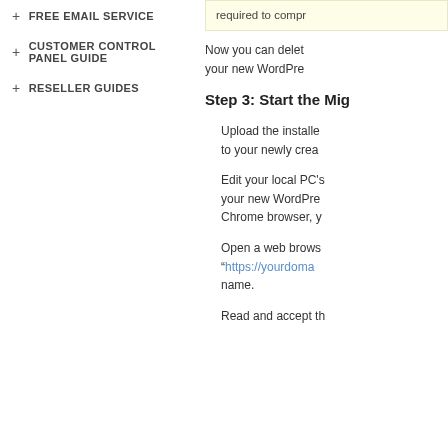+ FREE EMAIL SERVICE
+ CUSTOMER CONTROL PANEL GUIDE
+ RESELLER GUIDES
required to compr
Now you can delet your new WordPre
Step 3: Start the Mig
Upload the installe to your newly crea
Edit your local PC's your new WordPre Chrome browser, y
Open a web brows “https://yourdoma name.
Read and accept th